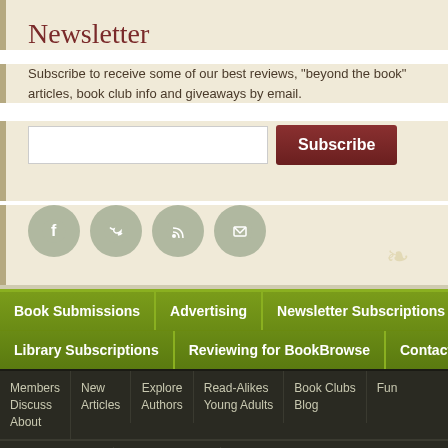Newsletter
Subscribe to receive some of our best reviews, "beyond the book" articles, book club info and giveaways by email.
[Figure (screenshot): Email input field and Subscribe button]
[Figure (infographic): Social media icons: Facebook, Twitter, RSS, Email]
Book Submissions
Advertising
Newsletter Subscriptions
Library Subscriptions
Reviewing for BookBrowse
Contact Us
Members Discuss About
New Articles
Explore Authors
Read-Alikes Young Adults
Book Clubs Blog
Fun
Privacy Statement   Terms of Service   Accessibility